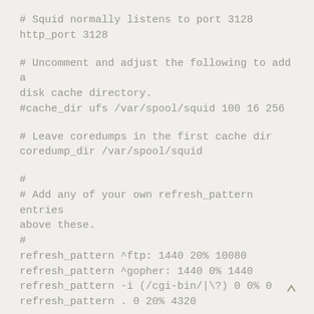# Squid normally listens to port 3128
http_port 3128
# Uncomment and adjust the following to add a disk cache directory.
#cache_dir ufs /var/spool/squid 100 16 256
# Leave coredumps in the first cache dir
coredump_dir /var/spool/squid
#
# Add any of your own refresh_pattern entries above these.
#
refresh_pattern ^ftp: 1440 20% 10080
refresh_pattern ^gopher: 1440 0% 1440
refresh_pattern -i (/cgi-bin/|\?) 0 0% 0
refresh_pattern . 0 20% 4320